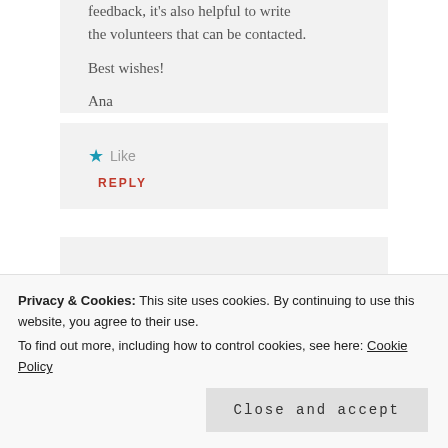feedback, its also helpful to write the volunteers that can be contacted.
Best wishes!
Ana
★ Like
REPLY
Pingback: Why Helpx Excites Me 4 Years Later | Brave New World
Privacy & Cookies: This site uses cookies. By continuing to use this website, you agree to their use.
To find out more, including how to control cookies, see here: Cookie Policy
Close and accept